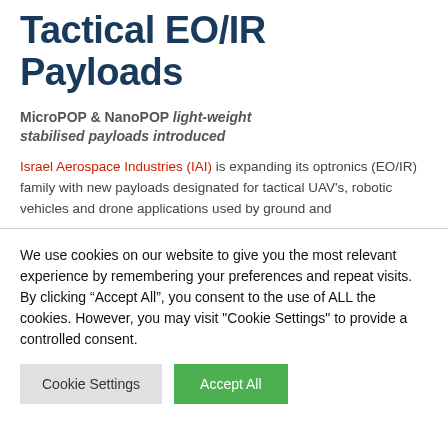Tactical EO/IR Payloads
MicroPOP & NanoPOP light-weight stabilised payloads introduced
Israel Aerospace Industries (IAI) is expanding its optronics (EO/IR) family with new payloads designated for tactical UAV's, robotic vehicles and drone applications used by ground and
We use cookies on our website to give you the most relevant experience by remembering your preferences and repeat visits. By clicking “Accept All”, you consent to the use of ALL the cookies. However, you may visit "Cookie Settings" to provide a controlled consent.
Cookie Settings | Accept All